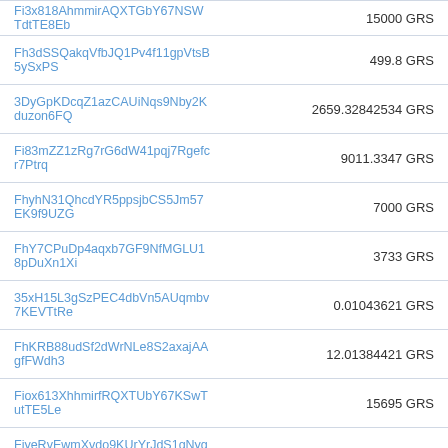| Address | Amount |
| --- | --- |
| Fi3x818AhmmirAQXTGbY67NSWTdtTE8Eb | 15000 GRS |
| Fh3dSSQakqVfbJQ1Pv4f11gpVtsB5ySxPS | 499.8 GRS |
| 3DyGpKDcqZ1azCAUiNqs9Nby2Kduzon6FQ | 2659.32842534 GRS |
| Fi83mZZ1zRg7rG6dW41pqj7Rgefcr7Ptrq | 9011.3347 GRS |
| FhyhN31QhcdYR5ppsjbCS5Jm57EK9f9UZG | 7000 GRS |
| FhY7CPuDp4aqxb7GF9NfMGLU18pDuXn1Xi | 3733 GRS |
| 35xH15L3gSzPEC4dbVn5AUqmbv7KEVTtRe | 0.01043621 GRS |
| FhKRB88udSf2dWrNLe8S2axajAAgfFWdh3 | 12.01384421 GRS |
| Fiox613XhhmirfRQXTUbY67KSwTutTE5Le | 15695 GRS |
| FjyeRvEwmXvdo9KUrYrJdS1qNygk9MiJUQ | 2.22811447 GRS |
| FjXyTfrebpBptXZTGR5zmYSJcwnGzLBjbz | 9180.97825533 GRS |
| FfrPVUwBXkYAYuQnBB2FP633CQj7jiACWr | 7131.1308 GRS |
| FjMdjnKtxM727URpKoTU5zNzPVcRMBwPPo | 3990 GRS |
| FarDrSa4HRV7xiVJminbuTHeiKy6gFGtoo | 19273 GRS |
| Fjxr7fXUpAQHrgWSoGbaFRRSbLqVJ8VoAy | 1738 GRS |